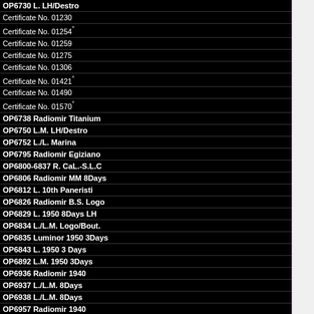OP6730 L. LH/Destro
Certificate No. 01230
Certificate No. 01254°
Certificate No. 01259
Certificate No. 01275
Certificate No. 01306
Certificate No. 01421°
Certificate No. 01490
Certificate No. 01570°
OP6738 Radiomir Titanium
OP6750 L.M. LH/Destro
OP6752 L./L. Marina
OP6795 Radiomir Egiziano
OP6800-6837 R. CaL.-S.L.C
OP6806 Radiomir MM 8Days
OP6812 L. 10th Paneristi
OP6826 Radiomir B.S. Logo
OP6829 L. 1950 8Days LH
OP6834 L./L.M. Logo/Bout.
OP6835 Luminor 1950 3Days
OP6843 L. 1950 3 Days
OP6892 L.M. 1950 3Days
OP6936 Radiomir 1940
OP6937 L./L.M. 8Days
OP6938 L./L.M. 8Days
OP6957 Radiomir 1940
OP6972 Radiomir 3 Days
OP6987 L. 1950 3Days LH
OP6995 Radiomir 1940 MM
OP6999 Radiomir 8 Days